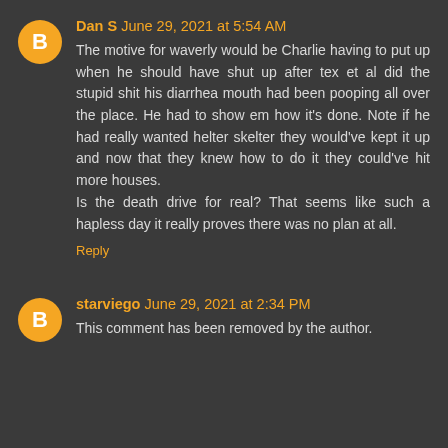Dan S June 29, 2021 at 5:54 AM
The motive for waverly would be Charlie having to put up when he should have shut up after tex et al did the stupid shit his diarrhea mouth had been pooping all over the place. He had to show em how it's done. Note if he had really wanted helter skelter they would've kept it up and now that they knew how to do it they could've hit more houses.
Is the death drive for real? That seems like such a hapless day it really proves there was no plan at all.
Reply
starviego June 29, 2021 at 2:34 PM
This comment has been removed by the author.